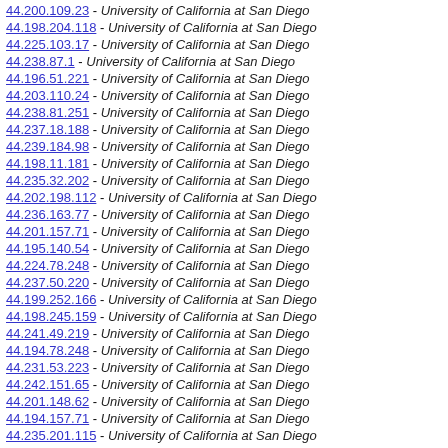44.200.109.23 - University of California at San Diego
44.198.204.118 - University of California at San Diego
44.225.103.17 - University of California at San Diego
44.238.87.1 - University of California at San Diego
44.196.51.221 - University of California at San Diego
44.203.110.24 - University of California at San Diego
44.238.81.251 - University of California at San Diego
44.237.18.188 - University of California at San Diego
44.239.184.98 - University of California at San Diego
44.198.11.181 - University of California at San Diego
44.235.32.202 - University of California at San Diego
44.202.198.112 - University of California at San Diego
44.236.163.77 - University of California at San Diego
44.201.157.71 - University of California at San Diego
44.195.140.54 - University of California at San Diego
44.224.78.248 - University of California at San Diego
44.237.50.220 - University of California at San Diego
44.199.252.166 - University of California at San Diego
44.198.245.159 - University of California at San Diego
44.241.49.219 - University of California at San Diego
44.194.78.248 - University of California at San Diego
44.231.53.223 - University of California at San Diego
44.242.151.65 - University of California at San Diego
44.201.148.62 - University of California at San Diego
44.194.157.71 - University of California at San Diego
44.235.201.115 - University of California at San Diego
44.234.197.111 - University of California at San Diego
44.197.8.178 - University of California at San Diego
44.194.223.137 - University of California at San Diego
44.198.87.1 - University of California at San Diego